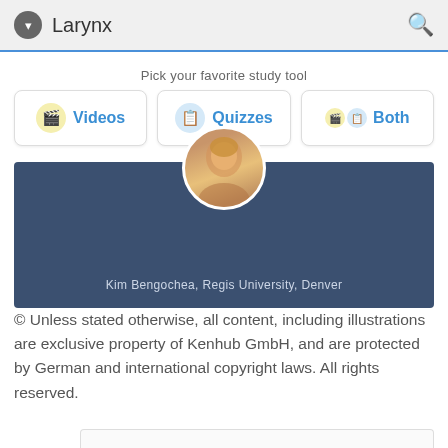Larynx
Pick your favorite study tool
Videos
Quizzes
Both
[Figure (photo): Profile photo of Kim Bengochea on a dark blue banner background]
Kim Bengochea, Regis University, Denver
© Unless stated otherwise, all content, including illustrations are exclusive property of Kenhub GmbH, and are protected by German and international copyright laws. All rights reserved.